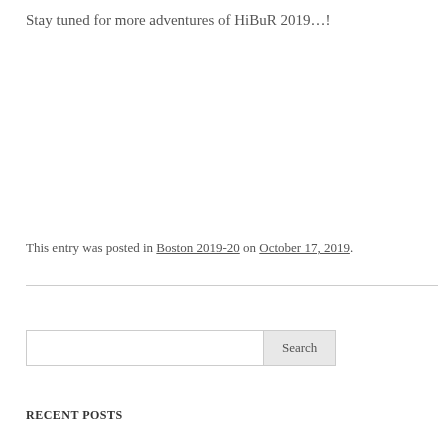Stay tuned for more adventures of HiBuR 2019…!
This entry was posted in Boston 2019-20 on October 17, 2019.
RECENT POSTS